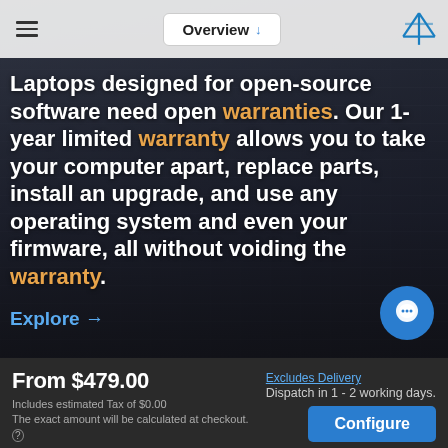Overview
[Figure (screenshot): Dark background hero image showing a laptop battery/circuit board with blurred dark overlay]
Laptops designed for open-source software need open warranties. Our 1-year limited warranty allows you to take your computer apart, replace parts, install an upgrade, and use any operating system and even your firmware, all without voiding the warranty.
Explore →
From $479.00
Includes estimated Tax of $0.00
The exact amount will be calculated at checkout.
Excludes Delivery
Dispatch in 1 - 2 working days.
Configure